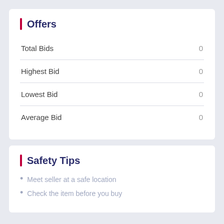Offers
| Label | Value |
| --- | --- |
| Total Bids | 0 |
| Highest Bid | 0 |
| Lowest Bid | 0 |
| Average Bid | 0 |
Safety Tips
Meet seller at a safe location
Check the item before you buy